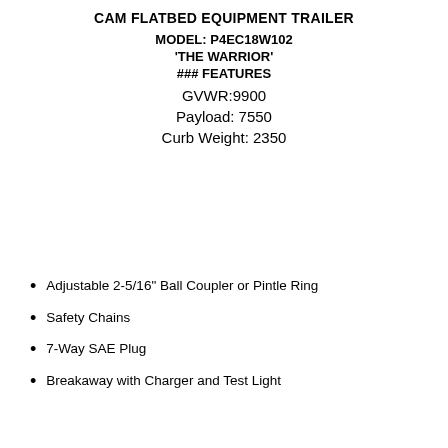CAM FLATBED EQUIPMENT TRAILER
MODEL: P4EC18W102
'THE WARRIOR'
### FEATURES
GVWR:9900
Payload: 7550
Curb Weight: 2350
Adjustable 2-5/16" Ball Coupler or Pintle Ring
Safety Chains
7-Way SAE Plug
Breakaway with Charger and Test Light